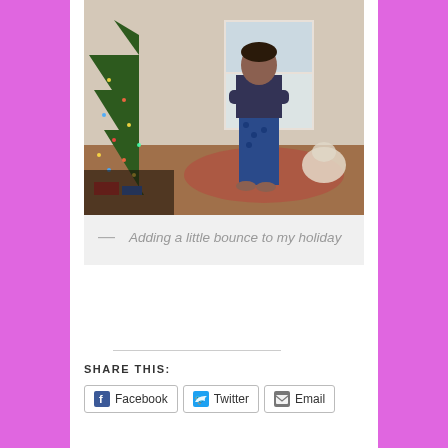[Figure (photo): Person standing in pajama pants next to a decorated Christmas tree in a living room]
— Adding a little bounce to my holiday
SHARE THIS:
Facebook  Twitter  Email